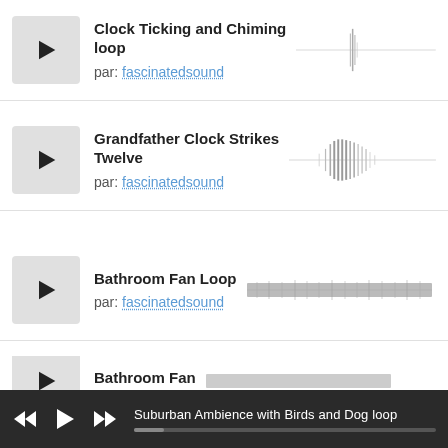Clock Ticking and Chiming loop
par: fascinatedsound
[Figure (continuous-plot): Audio waveform for Clock Ticking and Chiming loop — sparse spikes near center]
Grandfather Clock Strikes Twelve
par: fascinatedsound
[Figure (continuous-plot): Audio waveform for Grandfather Clock Strikes Twelve — dense repeating spike cluster in center]
Bathroom Fan Loop
par: fascinatedsound
[Figure (continuous-plot): Audio waveform for Bathroom Fan Loop — dense uniform noise across full width]
Bathroom Fan
[Figure (continuous-plot): Audio waveform for Bathroom Fan — partially visible]
Suburban Ambience with Birds and Dog loop